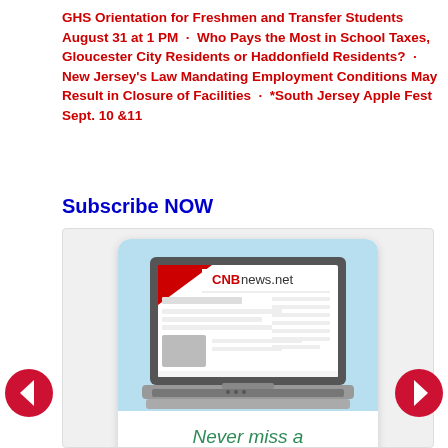GHS Orientation for Freshmen and Transfer Students August 31 at 1 PM · Who Pays the Most in School Taxes, Gloucester City Residents or Haddonfield Residents? · New Jersey's Law Mandating Employment Conditions May Result in Closure of Facilities · *South Jersey Apple Fest Sept. 10 &11
Subscribe NOW
[Figure (screenshot): A subscription widget showing a laptop with CNBnews.net website on screen, text 'Never miss a post', a Name field with placeholder 'Please introduce yourself']
Never miss a post
Name: Please introduce yourself